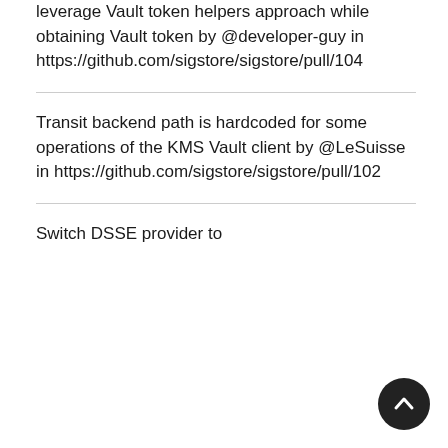leverage Vault token helpers approach while obtaining Vault token by @developer-guy in https://github.com/sigstore/sigstore/pull/104
Transit backend path is hardcoded for some operations of the KMS Vault client by @LeSuisse in https://github.com/sigstore/sigstore/pull/102
Switch DSSE provider to